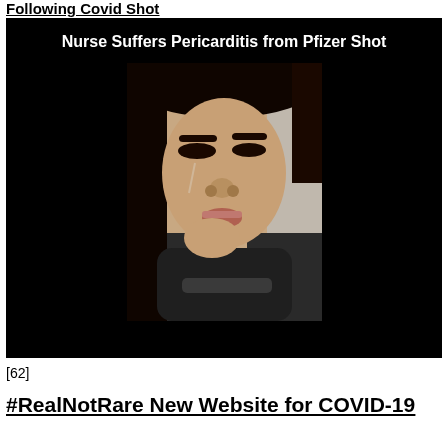Following Covid Shot
[Figure (screenshot): Screenshot of a video titled 'Nurse Suffers Pericarditis from Pfizer Shot' showing a woman with dark hair appearing to cry, holding her hand to her chin/neck area, wearing a dark shirt. The video has a black background with white bold title text.]
[62]
#RealNotRare New Website for COVID-19